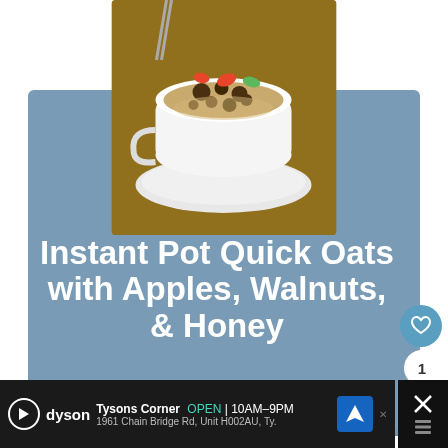[Figure (photo): A white bowl of oatmeal topped with apple slices, walnuts, and other toppings, viewed from above, on a wooden surface.]
Instant Pot Quick Oats with Apples, Walnuts, & Honey
An easy oatmeal recipe made quickly in an instant pot, topped with fresh fruit, nu… sweet honey drizzle.
[Figure (photo): Small thumbnail of Fried Banana Peppers]
WHAT'S NEXT → Fried Banana Peppers
Tysons Corner  OPEN | 10AM–9PM  1961 Chain Bridge Rd, Unit H002AU, Ty.